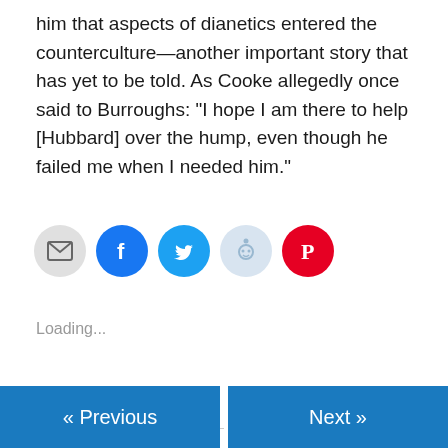him that aspects of dianetics entered the counterculture—another important story that has yet to be told. As Cooke allegedly once said to Burroughs: “I hope I am there to help [Hubbard] over the hump, even though he failed me when I needed him.”
[Figure (other): Social sharing icon buttons: email (grey), Facebook (blue), Twitter (cyan), Reddit (light blue), Pinterest (red)]
Loading...
May 10, 2018    Leave a Reply
« Previous    Next »